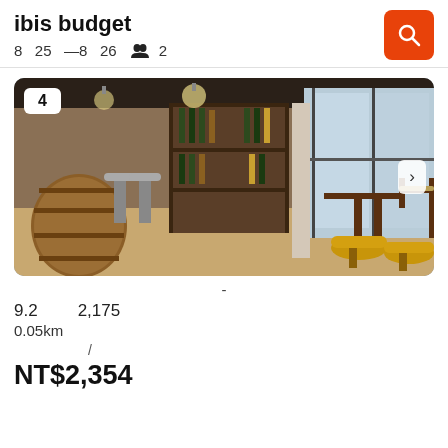ibis budget
8  25  — 8  26   👥 2
[Figure (photo): Hotel interior photo showing a restaurant/bar area with wooden barrels, shelving with bottles, yellow stools, dining tables and chairs, large glass windows.]
4
-
9.2   2,175
0.05km
/
NT$2,354